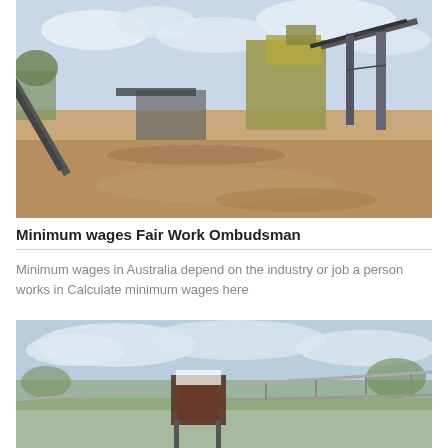[Figure (photo): Industrial mining or quarrying equipment with conveyor belts on a dirt ground under a partly cloudy sky]
Minimum wages Fair Work Ombudsman
Minimum wages in Australia depend on the industry or job a person works in Calculate minimum wages here
[Figure (photo): Industrial crushing or screening equipment with metal frame arms under a partly cloudy sky with trees in background]